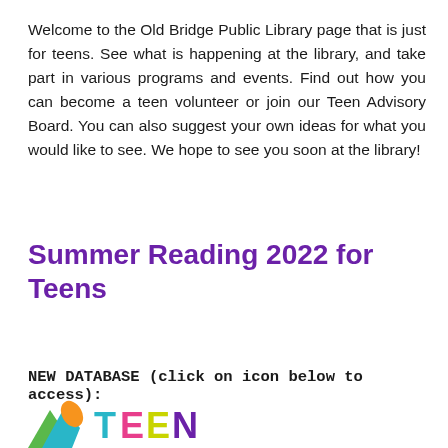Welcome to the Old Bridge Public Library page that is just for teens. See what is happening at the library, and take part in various programs and events. Find out how you can become a teen volunteer or join our Teen Advisory Board. You can also suggest your own ideas for what you would like to see. We hope to see you soon at the library!
Summer Reading 2022 for Teens
NEW DATABASE (click on icon below to access):
[Figure (logo): Teen database logo with colorful mountain/leaf shape and TEEN text in multicolor letters]